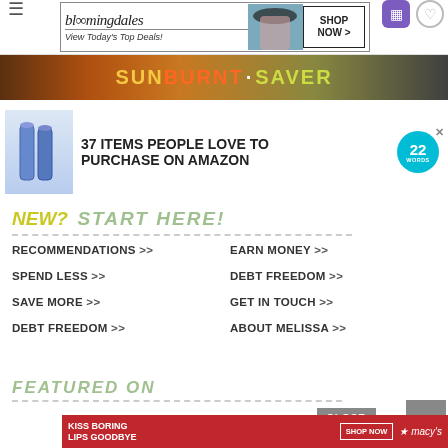[Figure (screenshot): Bloomingdales advertisement banner with logo, 'View Today's Top Deals!' text, model photo, and 'SHOP NOW >' button]
[Figure (photo): Sunburnt Saver promotional banner with colorful text on dark background]
[Figure (screenshot): Amazon ad: '37 ITEMS PEOPLE LOVE TO PURCHASE ON AMAZON' with product bottles and 22 Words badge]
NEW? START HERE!
RECOMMENDATIONS >>
EARN MONEY >>
SPEND LESS >>
DEBT FREEDOM >>
SAVE MORE >>
GET IN TOUCH >>
DEBT FREEDOM >>
ABOUT MELISSA >>
FEATURED ON
[Figure (screenshot): Macy's advertisement: 'KISS BORING LIPS GOODBYE' with SHOP NOW button and Macy's logo]